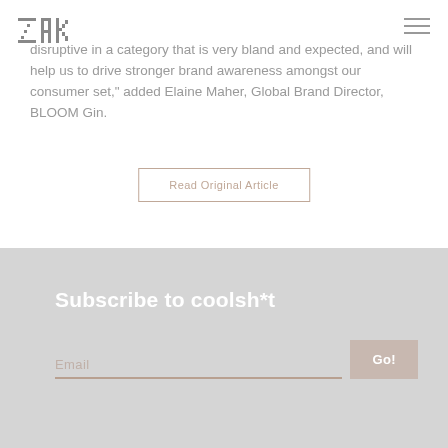[Figure (logo): ZAK logo top left]
disruptive in a category that is very bland and expected, and will help us to drive stronger brand awareness amongst our consumer set," added Elaine Maher, Global Brand Director, BLOOM Gin.
Read Original Article
Subscribe to coolsh*t
Email
Go!